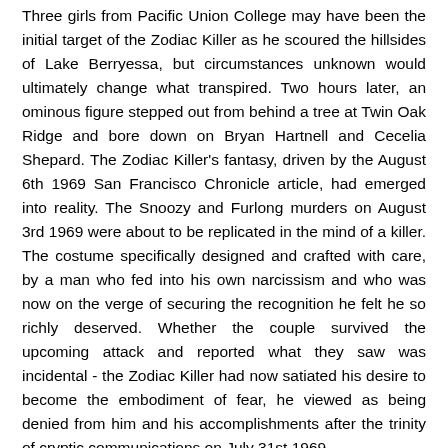Three girls from Pacific Union College may have been the initial target of the Zodiac Killer as he scoured the hillsides of Lake Berryessa, but circumstances unknown would ultimately change what transpired. Two hours later, an ominous figure stepped out from behind a tree at Twin Oak Ridge and bore down on Bryan Hartnell and Cecelia Shepard. The Zodiac Killer's fantasy, driven by the August 6th 1969 San Francisco Chronicle article, had emerged into reality. The Snoozy and Furlong murders on August 3rd 1969 were about to be replicated in the mind of a killer. The costume specifically designed and crafted with care, by a man who fed into his own narcissism and who was now on the verge of securing the recognition he felt he so richly deserved. Whether the couple survived the upcoming attack and reported what they saw was incidental - the Zodiac Killer had now satiated his desire to become the embodiment of fear, he viewed as being denied from him and his accomplishments after the trinity of cryptic communications on July 31st 1969.
After the attack on the couple, he made his way up the hillside to the Volkswagen Karmann Ghia of Bryan Hartnell and defiantly listed his accomplishments on the door of the vehicle, but specifically added the words "by knife" at the foot of the message. He was effectively